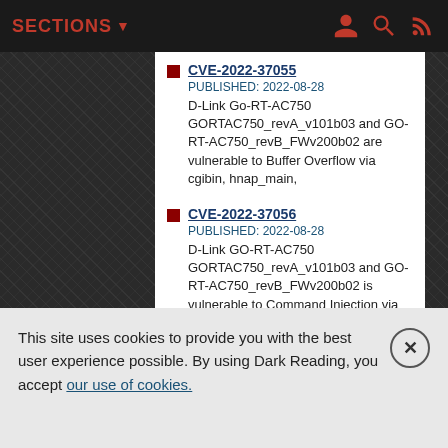SECTIONS
CVE-2022-37055
PUBLISHED: 2022-08-28
D-Link Go-RT-AC750 GORTAC750_revA_v101b03 and GO-RT-AC750_revB_FWv200b02 are vulnerable to Buffer Overflow via cgibin, hnap_main,
CVE-2022-37056
PUBLISHED: 2022-08-28
D-Link GO-RT-AC750 GORTAC750_revA_v101b03 and GO-RT-AC750_revB_FWv200b02 is vulnerable to Command Injection via /cgibin, hnap_main,
CVE-2022-38555
PUBLISHED: 2022-08-28
Linksys E1200 v1.0.04 is vulnerable to Buffer Overflow via ej_get_web_page_name.
CVE-2022-38562
This site uses cookies to provide you with the best user experience possible. By using Dark Reading, you accept our use of cookies.